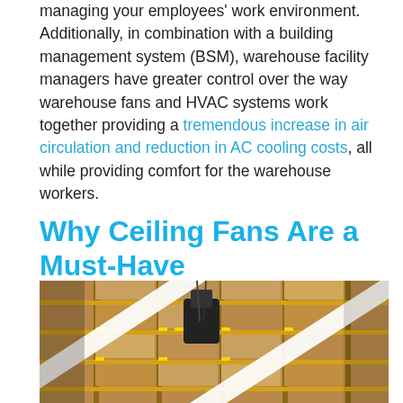managing your employees' work environment. Additionally, in combination with a building management system (BSM), warehouse facility managers have greater control over the way warehouse fans and HVAC systems work together providing a tremendous increase in air circulation and reduction in AC cooling costs, all while providing comfort for the warehouse workers.
Why Ceiling Fans Are a Must-Have
[Figure (photo): A warehouse ceiling fan mounted above industrial storage shelving filled with cardboard boxes. Large white fan blades are visible crossing diagonally over the shelving racks. The shelving has yellow label holders on the edges.]